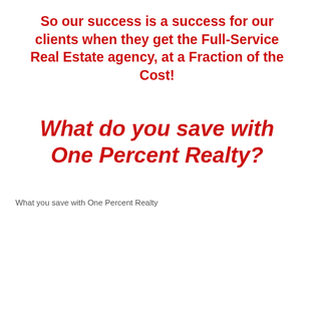So our success is a success for our clients when they get the Full-Service Real Estate agency, at a Fraction of the Cost!
What do you save with One Percent Realty?
What you save with One Percent Realty
| Your House |  | Traditional MLS® Broker* | Savings |
| --- | --- | --- | --- |
| $ 300,000 | $ 7,950 | $ 12,000 | $ 4,050 |
| $ 400,000 | $ 9,950 | $ 14,500 | $ 4,550 |
| $ 500,000 | $ 9,950 | $ 17,000 | $ 7,050 |
| $ 600,000 | $ 10,950 | $ 19,700 | $ 8,050 |